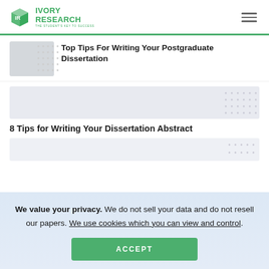[Figure (logo): Ivory Research logo — green cube icon with 'IR' letters, company name in green uppercase, tagline 'THE STUDENT'S KEY TO SUCCESS']
Top Tips For Writing Your Postgraduate Dissertation
[Figure (photo): Thumbnail image placeholder for postgraduate dissertation article]
8 Tips for Writing Your Dissertation Abstract
[Figure (photo): Thumbnail image placeholder for dissertation abstract article]
We value your privacy. We do not sell your data and do not resell our papers. We use cookies which you can view and control.